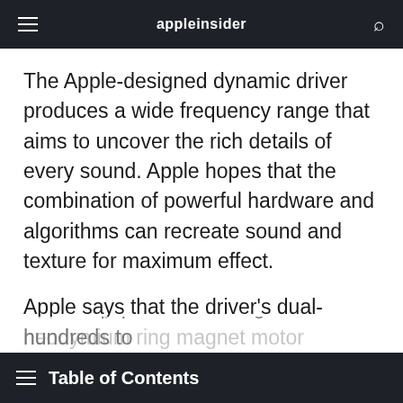appleinsider
The Apple-designed dynamic driver produces a wide frequency range that aims to uncover the rich details of every sound. Apple hopes that the combination of powerful hardware and algorithms can recreate sound and texture for maximum effect.
Apple says that the driver's dual-neodymium ring magnet motor minimizes total harmonic distortion across the entire audible range. This results in clearer audio playback even at high volumes.
Table of Contents
Audio equipment can range from hundreds to